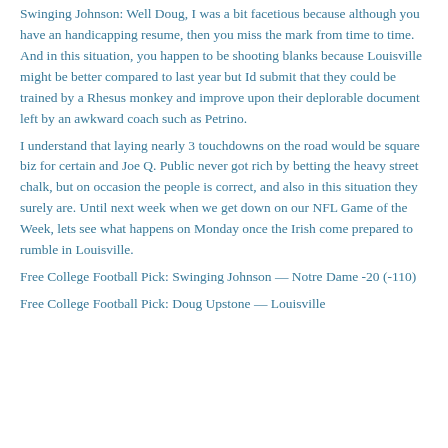Swinging Johnson: Well Doug, I was a bit facetious because although you have an handicapping resume, then you miss the mark from time to time. And in this situation, you happen to be shooting blanks because Louisville might be better compared to last year but Id submit that they could be trained by a Rhesus monkey and improve upon their deplorable document left by an awkward coach such as Petrino.
I understand that laying nearly 3 touchdowns on the road would be square biz for certain and Joe Q. Public never got rich by betting the heavy street chalk, but on occasion the people is correct, and also in this situation they surely are. Until next week when we get down on our NFL Game of the Week, lets see what happens on Monday once the Irish come prepared to rumble in Louisville.
Free College Football Pick: Swinging Johnson — Notre Dame -20 (-110)
Free College Football Pick: Doug Upstone — Louisville